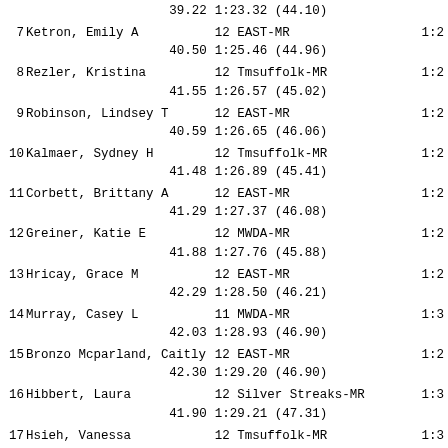| # | Name | Age Team | Time |
| --- | --- | --- | --- |
|  | 39.22 | 1:23.32 (44.10) |  |
| 7 | Ketron, Emily A | 12 EAST-MR | 1:2... |
|  | 40.50 | 1:25.46 (44.96) |  |
| 8 | Rezler, Kristina | 12 Tmsuffolk-MR | 1:2... |
|  | 41.55 | 1:26.57 (45.02) |  |
| 9 | Robinson, Lindsey T | 12 EAST-MR | 1:2... |
|  | 40.59 | 1:26.65 (46.06) |  |
| 10 | Kalmaer, Sydney H | 12 Tmsuffolk-MR | 1:2... |
|  | 41.48 | 1:26.89 (45.41) |  |
| 11 | Corbett, Brittany A | 12 EAST-MR | 1:2... |
|  | 41.29 | 1:27.37 (46.08) |  |
| 12 | Greiner, Katie E | 12 MWDA-MR | 1:2... |
|  | 41.88 | 1:27.76 (45.88) |  |
| 13 | Hricay, Grace M | 12 EAST-MR | 1:2... |
|  | 42.29 | 1:28.50 (46.21) |  |
| 14 | Murray, Casey L | 11 MWDA-MR | 1:3... |
|  | 42.03 | 1:28.93 (46.90) |  |
| 15 | Bronzo Mcparland, Caitly | 12 EAST-MR | 1:2... |
|  | 42.30 | 1:29.20 (46.90) |  |
| 16 | Hibbert, Laura | 12 Silver Streaks-MR | 1:3... |
|  | 41.90 | 1:29.21 (47.31) |  |
| 17 | Hsieh, Vanessa | 12 Tmsuffolk-MR | 1:3... |
|  | 42.30 | 1:29.36 (47.06) |  |
| 18 | Qu, Ellie C | 11 MWDA-MR | 1:2... |
|  | 42.47 | 1:30.14 (47.67) |  |
| 19 | Hendershot, Haley J | 11 IA-MR | 1:3... |
|  | 43.75 | 1:30.26 (46.51) |  |
| 20 | Lam, Vivian H | 12 Barracudas-MR | 1:2... |
|  | 42.76 | 1:30.42 (47.66) |  |
| 21 | Robinson, Nicole K | 12 EAST-MR | 1:2... |